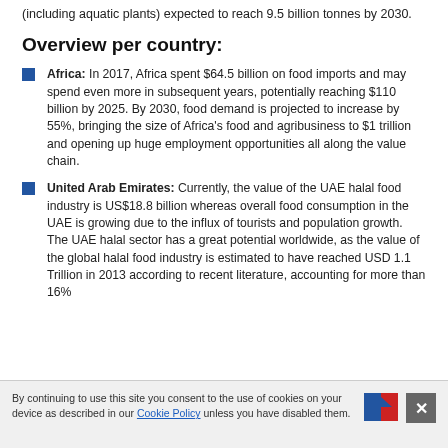(including aquatic plants) expected to reach 9.5 billion tonnes by 2030.
Overview per country:
Africa: In 2017, Africa spent $64.5 billion on food imports and may spend even more in subsequent years, potentially reaching $110 billion by 2025. By 2030, food demand is projected to increase by 55%, bringing the size of Africa's food and agribusiness to $1 trillion and opening up huge employment opportunities all along the value chain.
United Arab Emirates: Currently, the value of the UAE halal food industry is US$18.8 billion whereas overall food consumption in the UAE is growing due to the influx of tourists and population growth. The UAE halal sector has a great potential worldwide, as the value of the global halal food industry is estimated to have reached USD 1.1 Trillion in 2013 according to recent literature, accounting for more than 16%
By continuing to use this site you consent to the use of cookies on your device as described in our Cookie Policy unless you have disabled them.